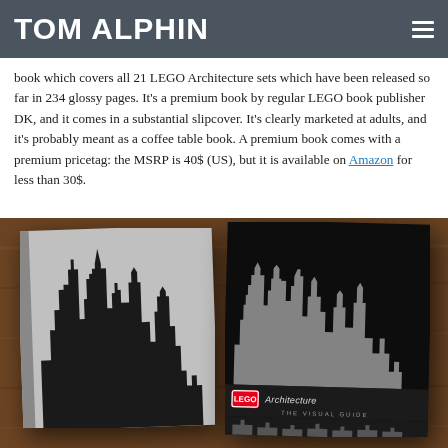TOM ALPHIN
book which covers all 21 LEGO Architecture sets which have been released so far in 234 glossy pages. It's a premium book by regular LEGO book publisher DK, and it comes in a substantial slipcover. It's clearly marketed at adults, and it's probably meant as a coffee table book. A premium book comes with a premium pricetag: the MSRP is 40$ (US), but it is available on Amazon for less than 30$.
[Figure (photo): Photo of two LEGO Architecture: The Visual Guide books on a wooden table. The left book has a silver cover with a black city skyline silhouette. The right book (the slipcover) is black with a detailed LEGO model skyline and the LEGO Architecture The Visual Guide branding label.]